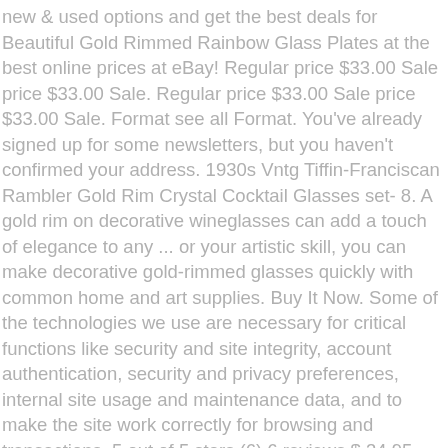new & used options and get the best deals for Beautiful Gold Rimmed Rainbow Glass Plates at the best online prices at eBay! Regular price $33.00 Sale price $33.00 Sale. Regular price $33.00 Sale price $33.00 Sale. Format see all Format. You've already signed up for some newsletters, but you haven't confirmed your address. 1930s Vntg Tiffin-Franciscan Rambler Gold Rim Crystal Cocktail Glasses set- 8. A gold rim on decorative wineglasses can add a touch of elegance to any ... or your artistic skill, you can make decorative gold-rimmed glasses quickly with common home and art supplies. Buy It Now. Some of the technologies we use are necessary for critical functions like security and site integrity, account authentication, security and privacy preferences, internal site usage and maintenance data, and to make the site work correctly for browsing and transactions. 5 out of 5 stars (6) 6 reviews $ 34.95. Sellers looking to grow their business and reach more interested buyers can use Etsy's advertising platform to promote their items. Looks like you already have an account! Gold-Rimmed Dinnerware Collection. With millions of unique furniture, décor, and housewares options, we'll help you find the perfect solution for your style and your home. These technologies are used for things like: We do this with social media, marketing, and analytics partners (who may have their own information